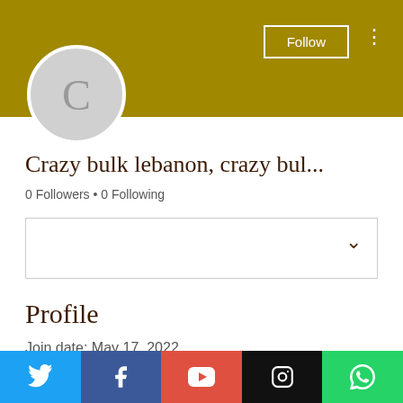[Figure (screenshot): Olive/dark yellow banner header background with Follow button and three-dot menu]
[Figure (illustration): Gray circular avatar with letter C]
Crazy bulk lebanon, crazy bul...
0 Followers • 0 Following
[Figure (other): Dropdown selector box with chevron]
Profile
Join date: May 17, 2022
About
[Figure (infographic): Social media icon bar: Twitter (blue), Facebook (dark blue), YouTube (red), Instagram (black), WhatsApp (green)]